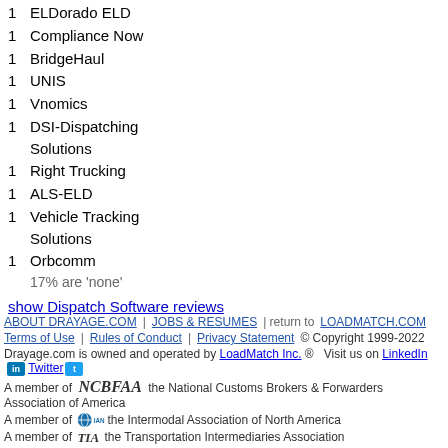1  ELDorado ELD
1  Compliance Now
1  BridgeHaul
1  UNIS
1  Vnomics
1  DSI-Dispatching Solutions
1  Right Trucking
1  ALS-ELD
1  Vehicle Tracking Solutions
1  Orbcomm
17% are 'none'
show Dispatch Software reviews
ABOUT DRAYAGE.COM | JOBS & RESUMES | return to LOADMATCH.COM | Terms of Use | Rules of Conduct | Privacy Statement © Copyright 1999-2022 | Drayage.com is owned and operated by LoadMatch Inc. ® Visit us on LinkedIn Twitter | A member of NCBFAA the National Customs Brokers & Forwarders Association of America | A member of IANA the Intermodal Association of North America | A member of TIA the Transportation Intermediaries Association